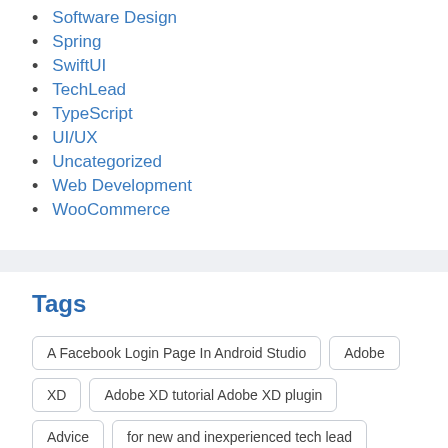Software Design
Spring
SwiftUI
TechLead
TypeScript
UI/UX
Uncategorized
Web Development
WooCommerce
Tags
A Facebook Login Page In Android Studio
Adobe XD
Adobe XD tutorial Adobe XD plugin
Advice
for new and inexperienced tech lead
Advice for